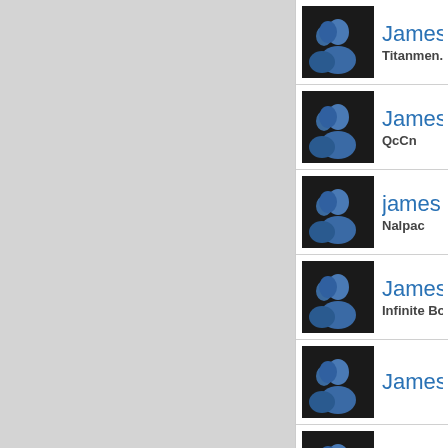James Sh... | Titanmen.com
James Su... | QcCn
james tom... | Nalpac
James W.... | Infinite Body P...
James Wil...
James xxx... | xxxNifty
james_clic... | Click Me Medi...
james_mrs... | Sk Intertainm...